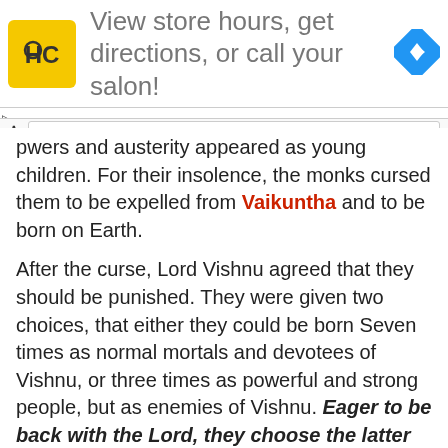[Figure (logo): Haircut salon advertisement banner with HC logo, text 'View store hours, get directions, or call your salon!' and a navigation arrow icon]
powers and austerity appeared as young children. For their insolence, the monks cursed them to be expelled from Vaikuntha and to be born on Earth.
After the curse, Lord Vishnu agreed that they should be punished. They were given two choices, that either they could be born Seven times as normal mortals and devotees of Vishnu, or three times as powerful and strong people, but as enemies of Vishnu. Eager to be back with the Lord, they choose the latter one.
First Birth as Hiranyakashipu (Killed by Lord Narasimha)